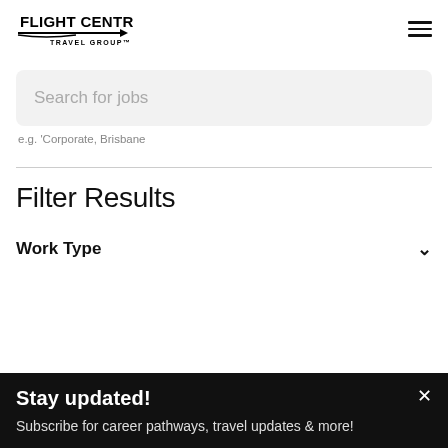[Figure (logo): Flight Centre Travel Group logo with bold text and arrow underline]
Search for jobs
e.g. 'Corporate, Brisbane
Filter Results
Work Type
Stay updated!
Subscribe for career pathways, travel updates & more!